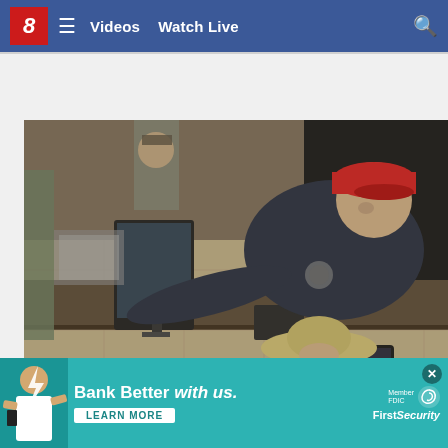8  ≡  Videos  Watch Live  🔍
[Figure (photo): CCTV security camera footage showing two people at what appears to be a retail counter. One person in dark shirt and red cap leans over the counter from the right side, the other person in a wide-brim hat stands at the counter. Store equipment including a monitor is visible on the counter.]
[Figure (photo): Advertisement banner: Bank Better with us. LEARN MORE - First Security Bank. Member FDIC. Shows a person on the left side of the banner.]